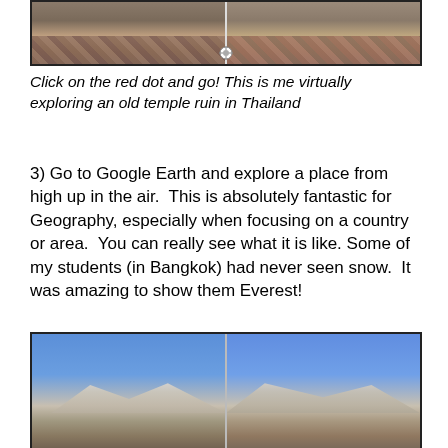[Figure (screenshot): Screenshot of Google Street View showing a temple ruin in Thailand, split-screen view with a vertical divider line and a navigation dot at the bottom center]
Click on the red dot and go! This is me virtually exploring an old temple ruin in Thailand
3) Go to Google Earth and explore a place from high up in the air.  This is absolutely fantastic for Geography, especially when focusing on a country or area.  You can really see what it is like. Some of my students (in Bangkok) had never seen snow.  It was amazing to show them Everest!
[Figure (screenshot): Screenshot of Google Earth showing Mount Everest with snow-capped peaks and blue sky, split-screen view with a vertical divider line]